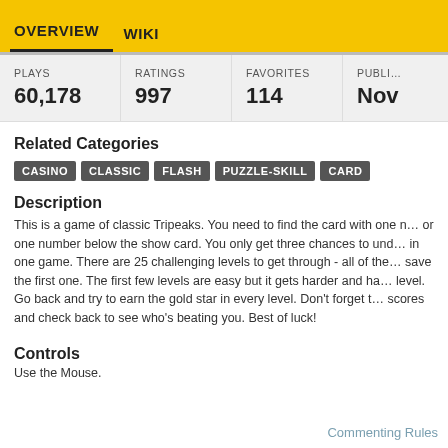OVERVIEW   WIKI
| PLAYS | RATINGS | FAVORITES | PUBLI… |
| --- | --- | --- | --- |
| 60,178 | 997 | 114 | Nov… |
Related Categories
CASINO
CLASSIC
FLASH
PUZZLE-SKILL
CARD
Description
This is a game of classic Tripeaks. You need to find the card with one number above or one number below the show card. You only get three chances to undo in one game. There are 25 challenging levels to get through - all of them save the first one. The first few levels are easy but it gets harder and harder each level. Go back and try to earn the gold star in every level. Don't forget to compare your scores and check back to see who's beating you. Best of luck!
Controls
Use the Mouse.
Commenting Rules